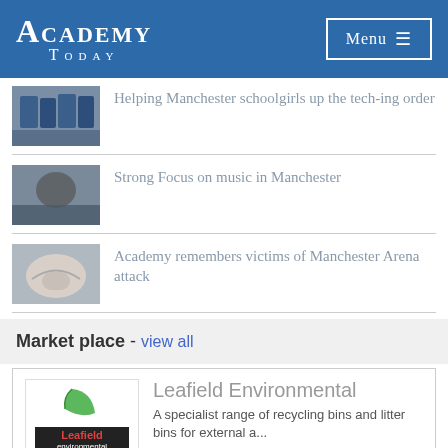Academy Today
Helping Manchester schoolgirls up the tech-ing order
Strong Focus on music in Manchester
Academy remembers victims of Manchester Arena attack
Market place - view all
Leafield Environmental
A specialist range of recycling bins and litter bins for external a...